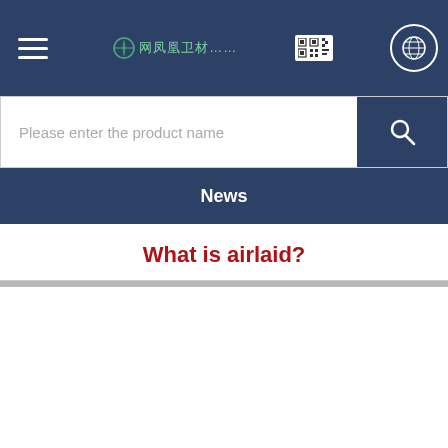Navigation bar with hamburger menu, logo/brand name, QR code, and globe/language icon
Please enter the product name
News
What is airlaid?